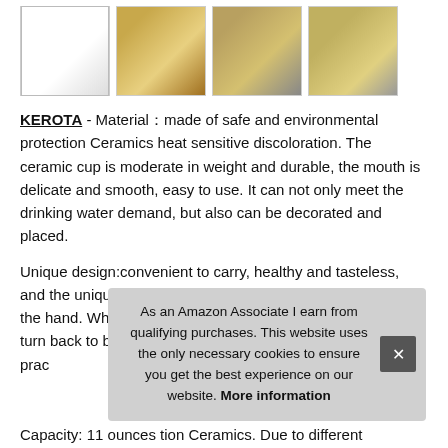[Figure (photo): Row of four product images showing color-changing mugs with golden pattern and heart handles]
KEROTA - Material：made of safe and environmental protection Ceramics heat sensitive discoloration. The ceramic cup is moderate in weight and durable, the mouth is delicate and smooth, easy to use. It can not only meet the drinking water demand, but also can be decorated and placed.
Unique design:convenient to carry, healthy and tasteless, and the unique design of love ears is comfortable to hold in the hand. When the temperature drops, safe to use, it will turn back to black. After pouring the hot liquid, beautiful and practical.
As an Amazon Associate I earn from qualifying purchases. This website uses the only necessary cookies to ensure you get the best experience on our website. More information
Capacity: 11 ounces tion Ceramics. Due to different